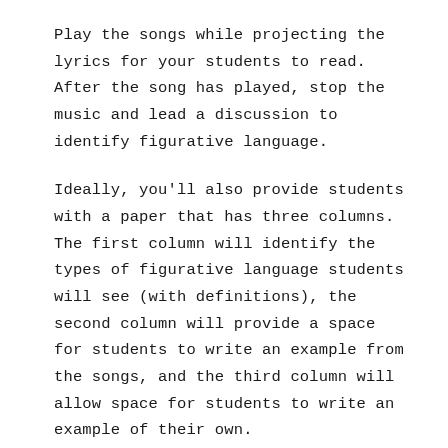Play the songs while projecting the lyrics for your students to read. After the song has played, stop the music and lead a discussion to identify figurative language.
Ideally, you'll also provide students with a paper that has three columns. The first column will identify the types of figurative language students will see (with definitions), the second column will provide a space for students to write an example from the songs, and the third column will allow space for students to write an example of their own.